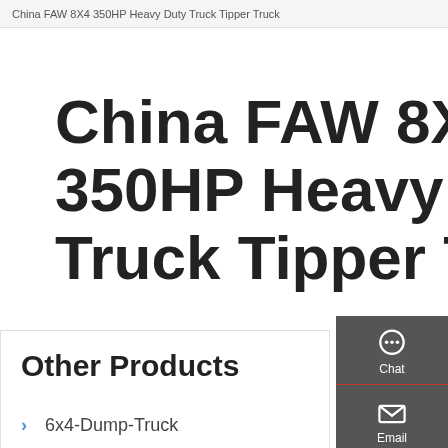China FAW 8X4 350HP Heavy Duty Truck Tipper Truck
China FAW 8X4 350HP Heavy Duty Truck Tipper Truck
Other Products
6x4-Dump-Truck
8x4-Dump-Truck